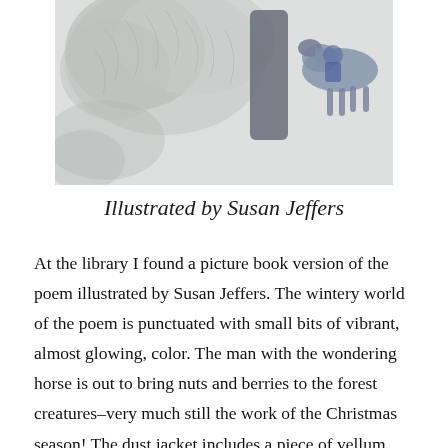[Figure (illustration): Detailed pencil/ink illustration showing winter forest scene with leafy tree branches and a horse, rendered in soft grey tones.]
Illustrated by Susan Jeffers
At the library I found a picture book version of the poem illustrated by Susan Jeffers. The wintery world of the poem is punctuated with small bits of vibrant, almost glowing, color. The man with the wondering horse is out to bring nuts and berries to the forest creatures–very much still the work of the Christmas season! The dust jacket includes a piece of vellum that slips over the scene. It makes it harder to see and more